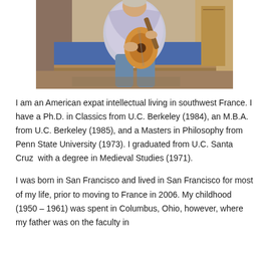[Figure (photo): A person sitting and playing an acoustic guitar indoors, wearing a patterned shirt and jeans, with a blue cushioned bench/bed and wooden furniture in the background.]
I am an American expat intellectual living in southwest France. I have a Ph.D. in Classics from U.C. Berkeley (1984), an M.B.A. from U.C. Berkeley (1985), and a Masters in Philosophy from Penn State University (1973). I graduated from U.C. Santa Cruz  with a degree in Medieval Studies (1971).
I was born in San Francisco and lived in San Francisco for most of my life, prior to moving to France in 2006. My childhood (1950 – 1961) was spent in Columbus, Ohio, however, where my father was on the faculty in